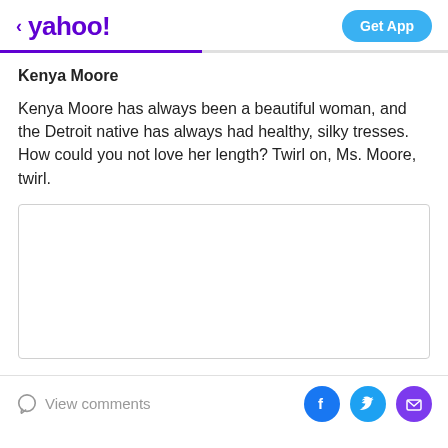< yahoo!  Get App
Kenya Moore
Kenya Moore has always been a beautiful woman, and the Detroit native has always had healthy, silky tresses. How could you not love her length? Twirl on, Ms. Moore, twirl.
[Figure (photo): Empty white image placeholder with light gray border]
View comments  [Facebook] [Twitter] [Email]